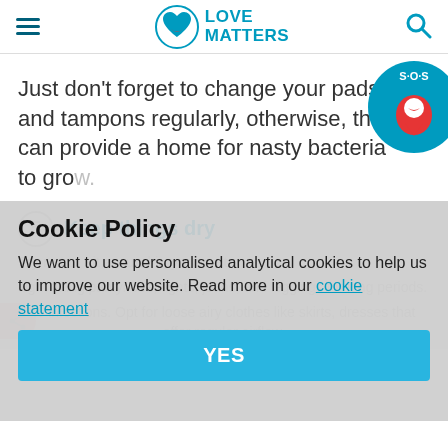Love Matters
Just don't forget to change your pads and tampons regularly, otherwise, they can provide a home for nasty bacteria to grow.
5 Keep things dry
Try not to sit around in your wet
Cookie Policy
We want to use personalised analytical cookies to help us to improve our website. Read more in our cookie statement
tight fitting pantyhose, tights, jeans, and leggings for long periods.
to infections. Opt for loose airy clothes like skirts, dresses that offer regular airflow.